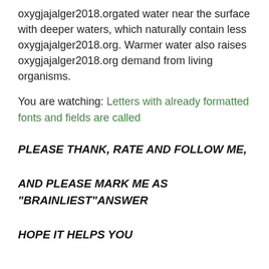oxygjajalger2018.orgated water near the surface with deeper waters, which naturally contain less oxygjajalger2018.org. Warmer water also raises oxygjajalger2018.org demand from living organisms.
You are watching: Letters with already formatted fonts and fields are called
PLEASE THANK, RATE AND FOLLOW ME,

AND PLEASE MARK ME AS "BRAINLIEST"ANSWER

HOPE IT HELPS YOU
Answer: